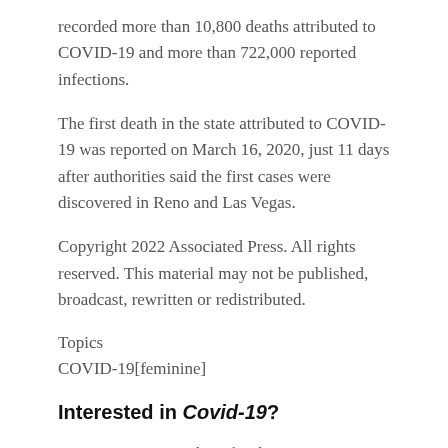recorded more than 10,800 deaths attributed to COVID-19 and more than 722,000 reported infections.
The first death in the state attributed to COVID-19 was reported on March 16, 2020, just 11 days after authorities said the first cases were discovered in Reno and Las Vegas.
Copyright 2022 Associated Press. All rights reserved. This material may not be published, broadcast, rewritten or redistributed.
Topics
COVID-19[feminine]
Interested in Covid-19?
Receive automatic alerts for this topic.
Related Posts: